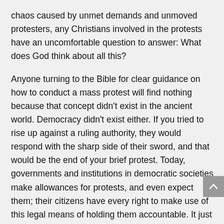chaos caused by unmet demands and unmoved protesters, any Christians involved in the protests have an uncomfortable question to answer: What does God think about all this?
Anyone turning to the Bible for clear guidance on how to conduct a mass protest will find nothing because that concept didn't exist in the ancient world. Democracy didn't exist either. If you tried to rise up against a ruling authority, they would respond with the sharp side of their sword, and that would be the end of your brief protest. Today, governments and institutions in democratic societies make allowances for protests, and even expect them; their citizens have every right to make use of this legal means of holding them accountable. It just depends how far those citizens